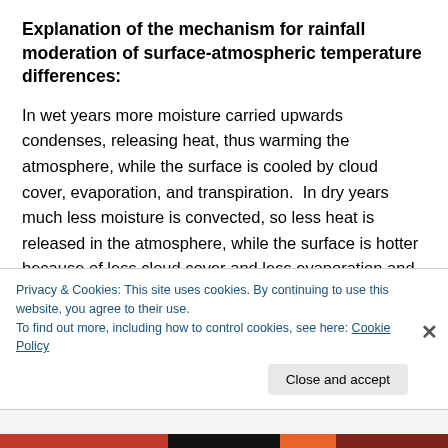Explanation of the mechanism for rainfall moderation of surface-atmospheric temperature differences:
In wet years more moisture carried upwards condenses, releasing heat, thus warming the atmosphere, while the surface is cooled by cloud cover, evaporation, and transpiration.  In dry years much less moisture is convected, so less heat is released in the atmosphere, while the surface is hotter because of less cloud cover and less evaporation and transpiration.  Thus dry years have a greater temperature difference between Ts and Tl than...
Privacy & Cookies: This site uses cookies. By continuing to use this website, you agree to their use.
To find out more, including how to control cookies, see here: Cookie Policy